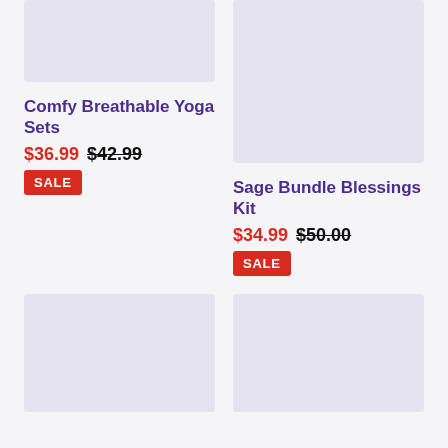[Figure (photo): Product image placeholder for Comfy Breathable Yoga Sets (top left, lavender/grey rectangle)]
Comfy Breathable Yoga Sets
$36.99 $42.99
SALE
[Figure (photo): Product image placeholder for Sage Bundle Blessings Kit (top right, lavender/grey rectangle)]
Sage Bundle Blessings Kit
$34.99 $50.00
SALE
[Figure (photo): Product image placeholder bottom left (lavender/grey rectangle)]
[Figure (photo): Product image placeholder bottom right (lavender/grey rectangle)]